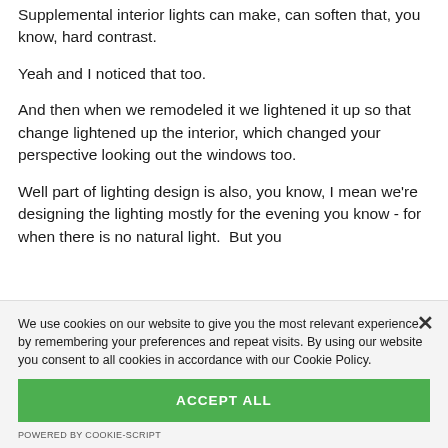Supplemental interior lights can make, can soften that, you know, hard contrast.
Yeah and I noticed that too.
And then when we remodeled it we lightened it up so that change lightened up the interior, which changed your perspective looking out the windows too.
Well part of lighting design is also, you know, I mean we're designing the lighting mostly for the evening you know - for when there is no natural light.  But you
We use cookies on our website to give you the most relevant experience by remembering your preferences and repeat visits. By using our website you consent to all cookies in accordance with our Cookie Policy.
ACCEPT ALL
POWERED BY COOKIE-SCRIPT